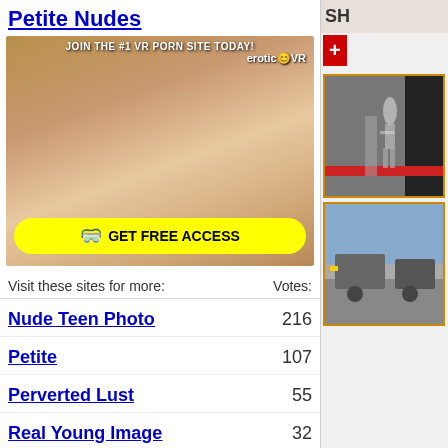Petite Nudes
[Figure (photo): Adult advertisement banner for EroticVR with text 'JOIN THE #1 VR PORN SITE TODAY!' and 'GET FREE ACCESS' button]
Visit these sites for more:	Votes:
Nude Teen Photo	216
Petite	107
Perverted Lust	55
Real Young Image	32
[Figure (photo): Thumbnail image of person near building]
[Figure (photo): Thumbnail image of street/vehicle scene]